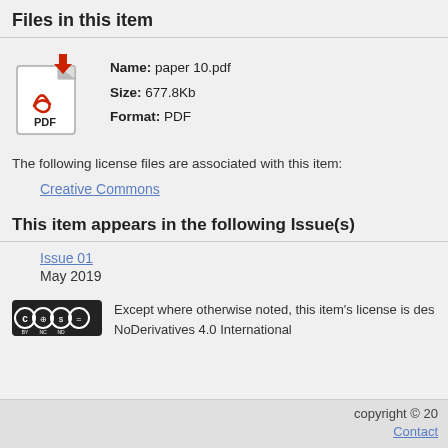Files in this item
[Figure (illustration): PDF file icon with red download arrow and Adobe-style red icon, labeled PDF]
Name: paper 10.pdf
Size: 677.8Kb
Format: PDF
The following license files are associated with this item:
Creative Commons
This item appears in the following Issue(s)
Issue 01
May 2019
[Figure (logo): Creative Commons BY NC ND license badge]
Except where otherwise noted, this item's license is des... NoDerivatives 4.0 International
copyright © 20...
Contact